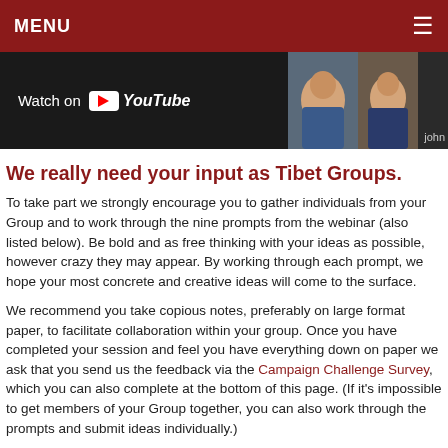MENU
[Figure (screenshot): YouTube video banner showing 'Watch on YouTube' with two participants visible on the right side, and a name label 'John']
We really need your input as Tibet Groups.
To take part we strongly encourage you to gather individuals from your Group and to work through the nine prompts from the webinar (also listed below). Be bold and as free thinking with your ideas as possible, however crazy they may appear. By working through each prompt, we hope your most concrete and creative ideas will come to the surface.
We recommend you take copious notes, preferably on large format paper, to facilitate collaboration within your group. Once you have completed your session and feel you have everything down on paper we ask that you send us the feedback via the Campaign Challenge Survey, which you can also complete at the bottom of this page. (If it's impossible to get members of your Group together, you can also work through the prompts and submit ideas individually.)